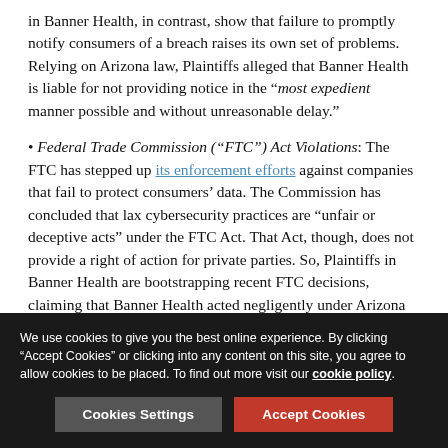in Banner Health, in contrast, show that failure to promptly notify consumers of a breach raises its own set of problems. Relying on Arizona law, Plaintiffs alleged that Banner Health is liable for not providing notice in the “most expedient manner possible and without unreasonable delay.”
• Federal Trade Commission (“FTC”) Act Violations: The FTC has stepped up its enforcement efforts against companies that fail to protect consumers’ data. The Commission has concluded that lax cybersecurity practices are “unfair or deceptive acts” under the FTC Act. That Act, though, does not provide a right of action for private parties. So, Plaintiffs in Banner Health are bootstrapping recent FTC decisions, claiming that Banner Health acted negligently under Arizona law because it violated the FTC Act. Plaintiffs may also argue that, in light of the FTC’s recent decisions, Banner Health violated the Arizona Consumer Fraud Act, which, like the FTC
We use cookies to give you the best online experience. By clicking “Accept Cookies” or clicking into any content on this site, you agree to allow cookies to be placed. To find out more visit our cookie policy.